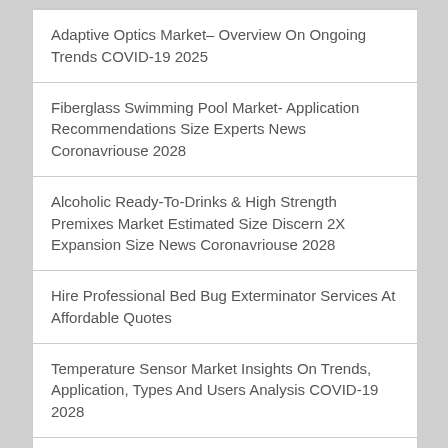Adaptive Optics Market– Overview On Ongoing Trends COVID-19 2025
Fiberglass Swimming Pool Market- Application Recommendations Size Experts News Coronavriouse 2028
Alcoholic Ready-To-Drinks & High Strength Premixes Market Estimated Size Discern 2X Expansion Size News Coronavriouse 2028
Hire Professional Bed Bug Exterminator Services At Affordable Quotes
Temperature Sensor Market Insights On Trends, Application, Types And Users Analysis COVID-19 2028